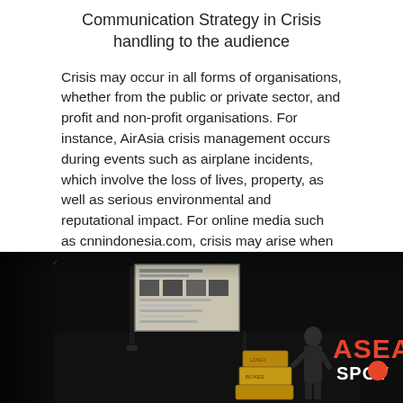Communication Strategy in Crisis handling to the audience
Crisis may occur in all forms of organisations, whether from the public or private sector, and profit and non-profit organisations. For instance, AirAsia crisis management occurs during events such as airplane incidents, which involve the loss of lives, property, as well as serious environmental and reputational impact. For online media such as cnnindonesia.com, crisis may arise when dealing with fake news being distributed to the public from other abundant medias.
[Figure (photo): Dark conference or presentation scene with a presenter standing on stage next to stacked boxes. A slide screen is visible in the background. The ASEAN SPOT logo appears on the right side in red and white text.]